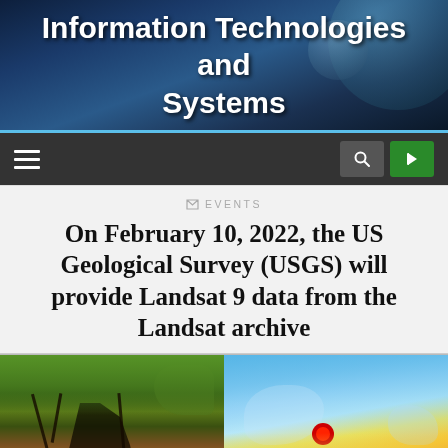Information Technologies and Systems
[Figure (screenshot): Website navigation bar with hamburger menu on left and search/login icons on right, dark grey background]
EVENTS
On February 10, 2022, the US Geological Survey (USGS) will provide Landsat 9 data from the Landsat archive
[Figure (photo): Two side-by-side satellite images: left shows natural color Landsat image of mountainous/forested terrain with dark shadowed areas and green vegetation; right shows false-color thermal/infrared Landsat image of same area with blue sky, yellow-orange-red thermal anomaly indicating volcanic or fire activity]